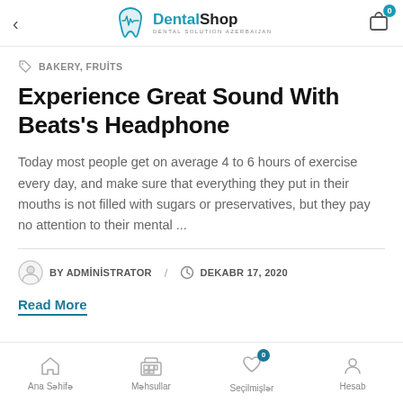DentalShop — DENTAL SOLUTION AZERBAIJAN
BAKERY, FRUİTS
Experience Great Sound With Beats's Headphone
Today most people get on average 4 to 6 hours of exercise every day, and make sure that everything they put in their mouths is not filled with sugars or preservatives, but they pay no attention to their mental ...
BY ADMİNİSTRATOR / DEKABR 17, 2020
Read More
Ana Səhifə | Məhsullar | Seçilmişlər | Hesab